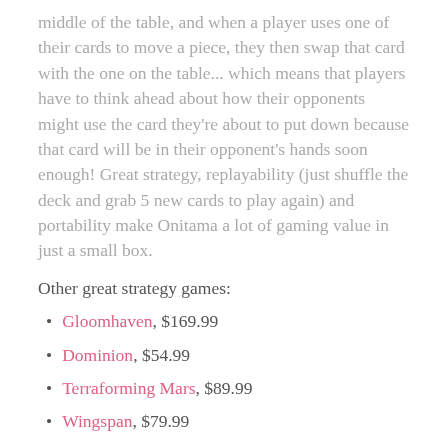middle of the table, and when a player uses one of their cards to move a piece, they then swap that card with the one on the table... which means that players have to think ahead about how their opponents might use the card they're about to put down because that card will be in their opponent's hands soon enough! Great strategy, replayability (just shuffle the deck and grab 5 new cards to play again) and portability make Onitama a lot of gaming value in just a small box.
Other great strategy games:
Gloomhaven, $169.99
Dominion, $54.99
Terraforming Mars, $89.99
Wingspan, $79.99
Big, long games aren't for everybody, whether